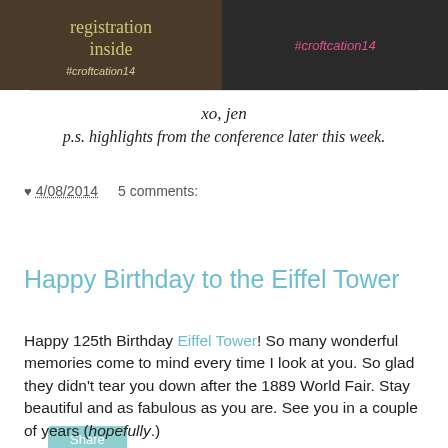[Figure (photo): Two side-by-side photos: left photo shows a dark wooden sign with yellow-green text reading 'registration inside #croftcation14'; right photo shows a dark t-shirt with '#croftcation14' in pink text and decorative elements.]
xo, jen
p.s. highlights from the conference later this week.
♥ 4/08/2014   5 comments:
Share
Happy Birthday to the Eiffel Tower
Happy 125th Birthday Eiffel Tower! So many wonderful memories come to mind every time I look at you. So glad they didn't tear you down after the 1889 World Fair. Stay beautiful and as fabulous as you are. See you in a couple of years (hopefully.)